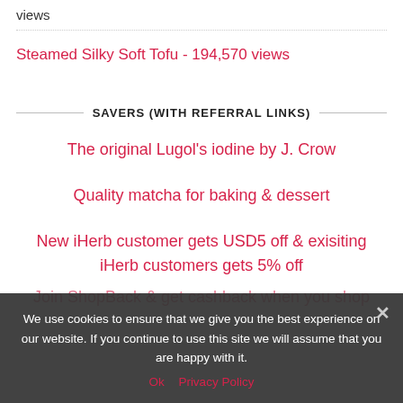views
Steamed Silky Soft Tofu - 194,570 views
SAVERS (WITH REFERRAL LINKS)
The original Lugol's iodine by J. Crow
Quality matcha for baking & dessert
New iHerb customer gets USD5 off & exisiting iHerb customers gets 5% off
Join ShopBack & get cashback when you shop
We use cookies to ensure that we give you the best experience on our website. If you continue to use this site we will assume that you are happy with it.  Ok   Privacy Policy